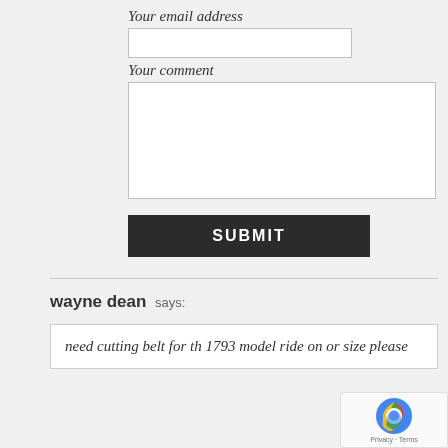Your email address
Your comment
SUBMIT
wayne dean says:
need cutting belt for th 1793 model ride on or size please